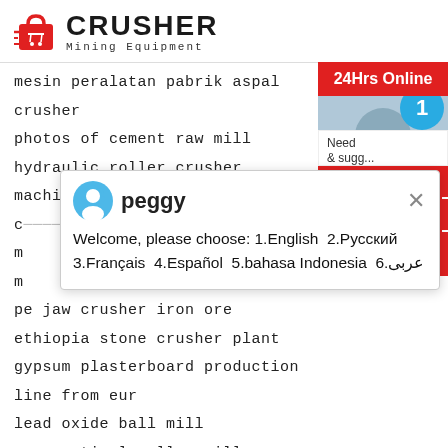[Figure (logo): Crusher Mining Equipment logo with red shopping bag icon and bold CRUSHER text]
mesin peralatan pabrik aspal crusher
photos of cement raw mill
hydraulic roller crusher machine india
c...
m...
m...
pe jaw crusher iron ore
ethiopia stone crusher plant
gypsum plasterboard production line from eur...
lead oxide ball mill
mps vertical roller mill
buy crusher from china
[Figure (screenshot): Chat popup from peggy: Welcome, please choose: 1.English 2.Русский 3.Français 4.Español 5.bahasa Indonesia 6.عربى]
[Figure (infographic): Right sidebar with 24Hrs Online, Need & suggestions, Chat Now button, Enquiry button (dashed border), and limingjlmofen@sina.com with blue circle showing 1]